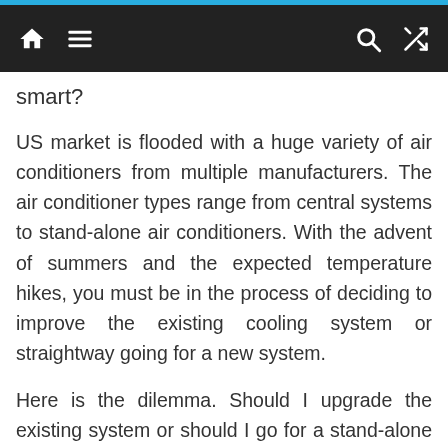[Navigation bar with home, menu, search, and shuffle icons]
smart?
US market is flooded with a huge variety of air conditioners from multiple manufacturers. The air conditioner types range from central systems to stand-alone air conditioners. With the advent of summers and the expected temperature hikes, you must be in the process of deciding to improve the existing cooling system or straightway going for a new system.
Here is the dilemma. Should I upgrade the existing system or should I go for a stand-alone system to create cooling zones in my home or at my business? The decision gets further complicated in deciding about the brand to go for and how much you need to spend. The rapid adoption of